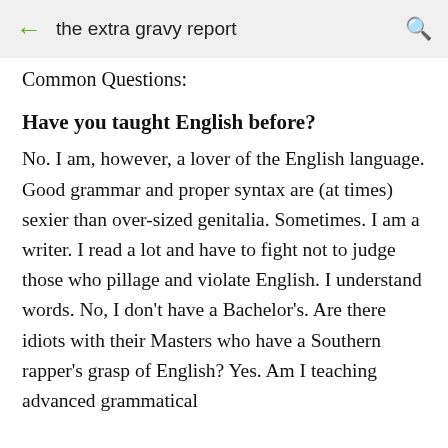the extra gravy report
Common Questions:
Have you taught English before?
No. I am, however, a lover of the English language. Good grammar and proper syntax are (at times) sexier than over-sized genitalia. Sometimes. I am a writer. I read a lot and have to fight not to judge those who pillage and violate English. I understand words. No, I don't have a Bachelor's. Are there idiots with their Masters who have a Southern rapper's grasp of English? Yes. Am I teaching advanced grammatical concepts? No. I can do so, I do when